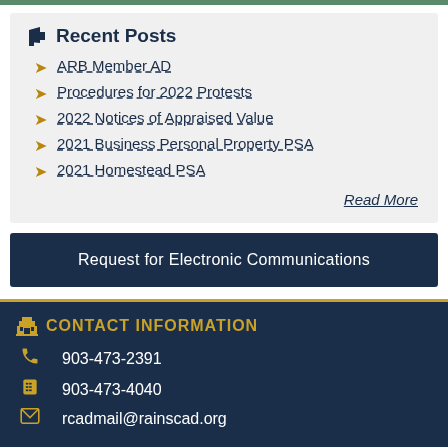Recent Posts
ARB Member AD
Procedures for 2022 Protests
2022 Notices of Appraised Value
2021 Business Personal Property PSA
2021 Homestead PSA
Read More
Request for Electronic Communications
CONTACT INFORMATION
903-473-2391
903-473-4040
rcadmail@rainscad.org